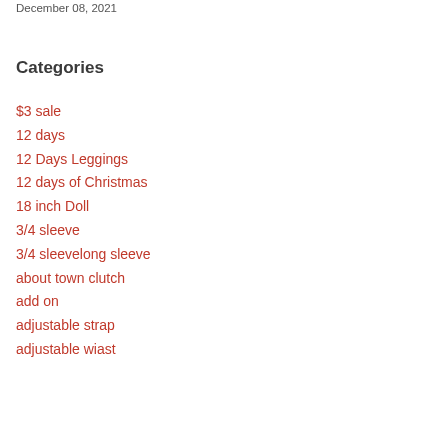December 08, 2021
Categories
$3 sale
12 days
12 Days Leggings
12 days of Christmas
18 inch Doll
3/4 sleeve
3/4 sleevelong sleeve
about town clutch
add on
adjustable strap
adjustable wiast